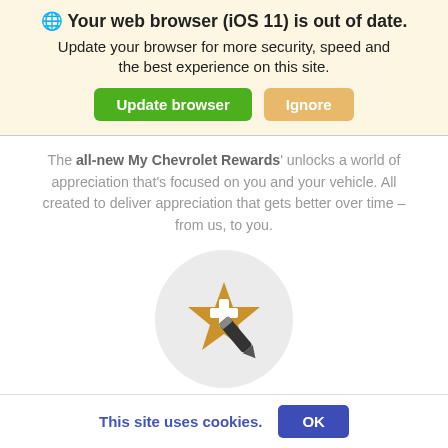🌐 Your web browser (iOS 11) is out of date. Update your browser for more security, speed and the best experience on this site.
[Figure (other): Two buttons: 'Update browser' (green) and 'Ignore' (tan/gold)]
The all-new My Chevrolet Rewards' unlocks a world of appreciation that's focused on you and your vehicle. All created to deliver appreciation that gets better over time – from us, to you.
[Figure (illustration): A circular light gray icon featuring a gold star with a white plus sign and a dark pencil/pen overlapping it]
GET IN
This site uses cookies.
[Figure (other): OK button (dark blue/indigo)]